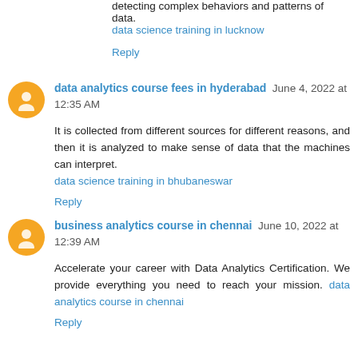detecting complex behaviors and patterns of data.
data science training in lucknow
Reply
data analytics course fees in hyderabad   June 4, 2022 at 12:35 AM
It is collected from different sources for different reasons, and then it is analyzed to make sense of data that the machines can interpret.
data science training in bhubaneswar
Reply
business analytics course in chennai   June 10, 2022 at 12:39 AM
Accelerate your career with Data Analytics Certification. We provide everything you need to reach your mission. data analytics course in chennai
Reply